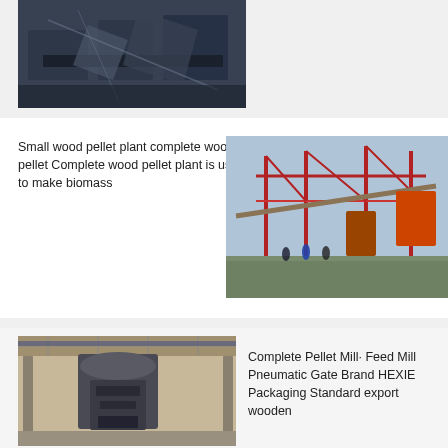[Figure (photo): Industrial metal scrap or slag material piled in bins, overhead view, dark tones]
[Figure (photo): Large industrial construction site with red steel frame structures, conveyor belts and heavy machinery, workers visible]
Small wood pellet plant complete wood pellet Complete wood pellet plant is used to make biomass
[Figure (photo): Large industrial pellet mill machine inside a factory building, gray and black machinery with overhead cranes]
Complete Pellet Mill· Feed Mill Pneumatic Gate Brand HEXIE Packaging Standard export wooden